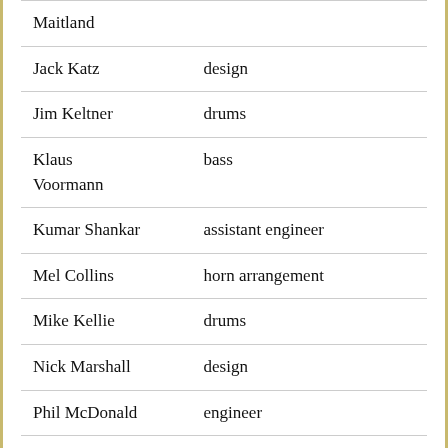| Maitland |  |
| Jack Katz | design |
| Jim Keltner | drums |
| Klaus Voormann | bass |
| Kumar Shankar | assistant engineer |
| Mel Collins | horn arrangement |
| Mike Kellie | drums |
| Nick Marshall | design |
| Phil McDonald | engineer |
|  |  |